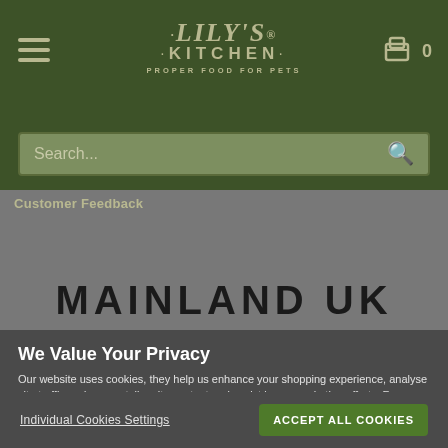[Figure (logo): Lily's Kitchen logo — Proper Food for Pets, on dark green background with hamburger menu and cart icon]
Search...
Customer Feedback
MAINLAND UK
We Value Your Privacy
Our website uses cookies, they help us enhance your shopping experience, analyse site traffic and usage, tailor site content and assist in our marketing efforts. For more information please read our Cookie Policy.
Individual Cookies Settings
ACCEPT ALL COOKIES